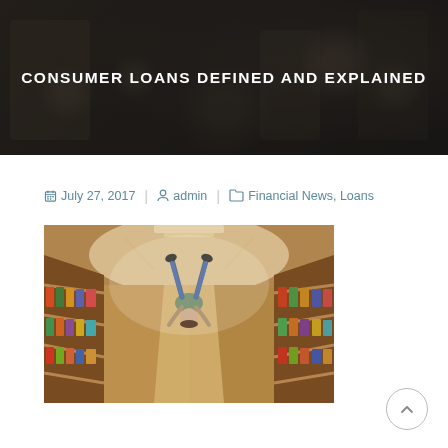CONSUMER LOANS DEFINED AND EXPLAINED
July 27, 2017 | admin | Financial News, Loans
[Figure (photo): Person doing a backflip in a grocery store aisle, sepia/warm toned photograph viewed from below looking up the aisle with shelves on both sides]